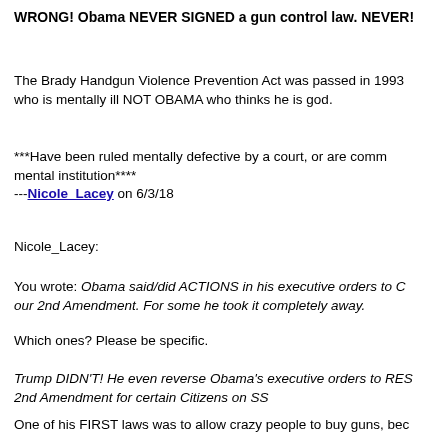WRONG! Obama NEVER SIGNED a gun control law. NEVER!
The Brady Handgun Violence Prevention Act was passed in 1993 who is mentally ill NOT OBAMA who thinks he is god.
***Have been ruled mentally defective by a court, or are comm mental institution****
---Nicole_Lacey on 6/3/18
Nicole_Lacey:
You wrote: Obama said/did ACTIONS in his executive orders to C our 2nd Amendment. For some he took it completely away.
Which ones? Please be specific.
Trump DIDN'T! He even reverse Obama's executive orders to RES 2nd Amendment for certain Citizens on SS
One of his FIRST laws was to allow crazy people to buy guns, bec SO important for us.
It was ALREADY a law!
Yes, because Congress passed it, and Obama signed it. That's ho laws work.
One of the first laws passed by Congress was to cancel Obama's